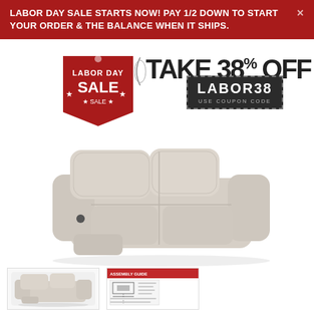LABOR DAY SALE STARTS NOW! PAY 1/2 DOWN TO START YOUR ORDER & THE BALANCE WHEN IT SHIPS.
[Figure (infographic): Labor Day Sale promotional banner with a red tag badge showing 'LABOR DAY SALE' with stars, 'TAKE 38% OFF' text, and a dark coupon code badge reading 'LABOR38 USE COUPON CODE']
[Figure (photo): A cream/beige leather reclining sofa with two recliner seats partially extended, shown from a front-angle perspective on a white background]
[Figure (photo): Small thumbnail of the same cream leather reclining loveseat/sofa]
[Figure (photo): Small thumbnail showing product assembly/dimension diagram sheet with measurements and instructions on red and white packaging]